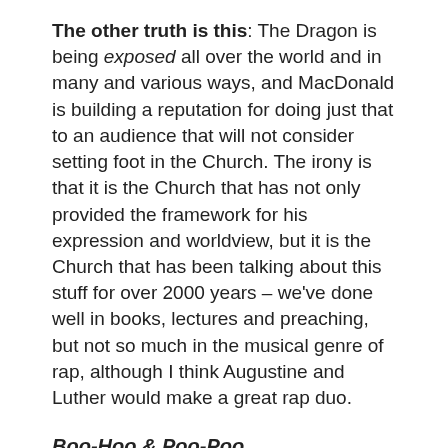The other truth is this: The Dragon is being exposed all over the world and in many and various ways, and MacDonald is building a reputation for doing just that to an audience that will not consider setting foot in the Church. The irony is that it is the Church that has not only provided the framework for his expression and worldview, but it is the Church that has been talking about this stuff for over 2000 years – we've done well in books, lectures and preaching, but not so much in the musical genre of rap, although I think Augustine and Luther would make a great rap duo.
Boo-Hoo & Poo-Poo
Don't Boo-Hoo if this isn't your type of music. And don't Poo-Poo the truth of what is being